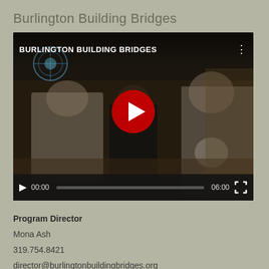Burlington Building Bridges
[Figure (screenshot): YouTube video thumbnail showing people gathered around a table, with a YouTube play button overlay and title 'BURLINGTON BUILDING BRIDGES'. Video duration shown as 06:00.]
Program Director
Mona Ash
319.754.8421
director@burlingtonbuildingbridges.org